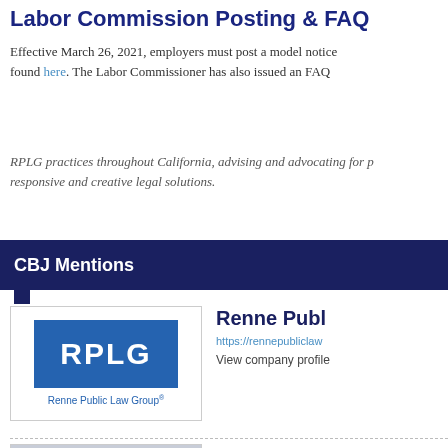Labor Commission Posting & FAQ
Effective March 26, 2021, employers must post a model notice found here. The Labor Commissioner has also issued an FAQ
RPLG practices throughout California, advising and advocating for responsive and creative legal solutions.
CBJ Mentions
[Figure (logo): RPLG - Renne Public Law Group logo with blue rectangle and white letters]
Renne Publ...
https://rennepubliclaw...
View company profile
[Figure (photo): Professional headshot of Jenica Mald, woman with dark hair, black top]
Jenica Mald...
View profile »